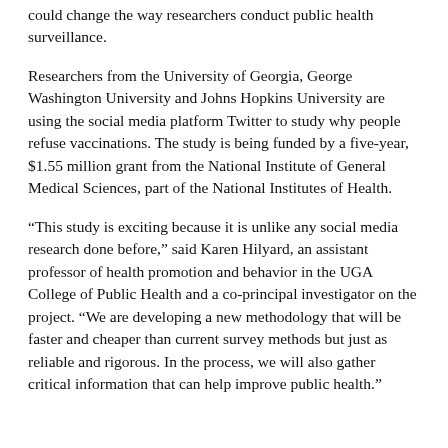could change the way researchers conduct public health surveillance.
Researchers from the University of Georgia, George Washington University and Johns Hopkins University are using the social media platform Twitter to study why people refuse vaccinations. The study is being funded by a five-year, $1.55 million grant from the National Institute of General Medical Sciences, part of the National Institutes of Health.
“This study is exciting because it is unlike any social media research done before,” said Karen Hilyard, an assistant professor of health promotion and behavior in the UGA College of Public Health and a co-principal investigator on the project. “We are developing a new methodology that will be faster and cheaper than current survey methods but just as reliable and rigorous. In the process, we will also gather critical information that can help improve public health.”